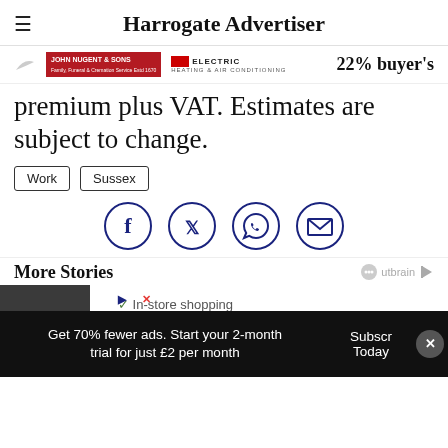Harrogate Advertiser
[Figure (illustration): Ad banner with John Nugent & Sons logo, electric heating and air conditioning logo]
22% buyer's premium plus VAT. Estimates are subject to change.
Work
Sussex
[Figure (infographic): Social sharing icons: Facebook, Twitter, WhatsApp, Email]
More Stories
[Figure (screenshot): Outbrain widget and Lidl advertisement with in-store shopping text and Suspiciously Low Prices tagline]
Get 70% fewer ads. Start your 2-month trial for just £2 per month
Subscribe Today